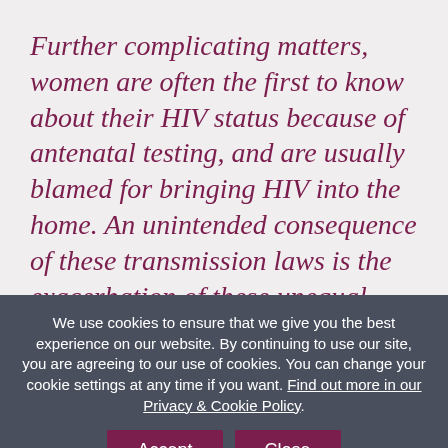Further complicating matters, women are often the first to know about their HIV status because of antenatal testing, and are usually blamed for bringing HIV into the home. An unintended consequence of these transmission laws is the exacerbation of these unequal power relations,
We use cookies to ensure that we give you the best experience on our website. By continuing to use our site, you are agreeing to our use of cookies. You can change your cookie settings at any time if you want. Find out more in our Privacy & Cookie Policy.